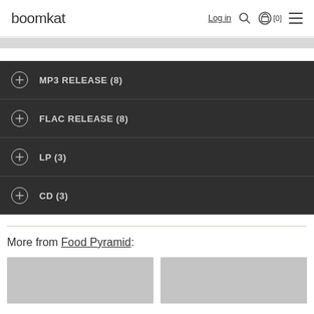boomkat  Log in  [0]
MP3 RELEASE (8)
FLAC RELEASE (8)
LP (3)
CD (3)
More from Food Pyramid:
[Figure (photo): Two placeholder thumbnail images for Food Pyramid releases]